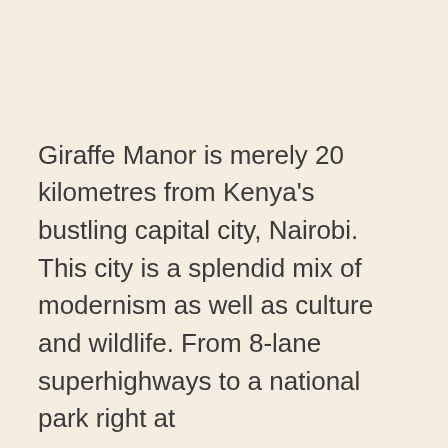Giraffe Manor is merely 20 kilometres from Kenya's bustling capital city, Nairobi. This city is a splendid mix of modernism as well as culture and wildlife. From 8-lane superhighways to a national park right at